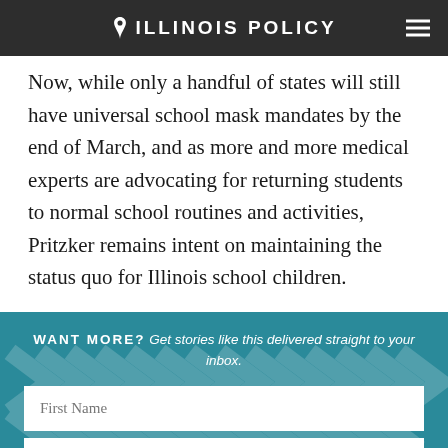ILLINOIS POLICY
Now, while only a handful of states will still have universal school mask mandates by the end of March, and as more and more medical experts are advocating for returning students to normal school routines and activities, Pritzker remains intent on maintaining the status quo for Illinois school children.
WANT MORE? Get stories like this delivered straight to your inbox.
First Name
Last Name